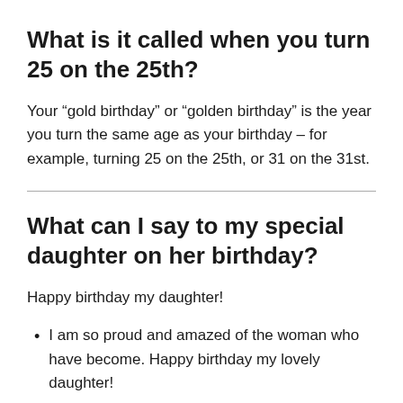What is it called when you turn 25 on the 25th?
Your “gold birthday” or “golden birthday” is the year you turn the same age as your birthday – for example, turning 25 on the 25th, or 31 on the 31st.
What can I say to my special daughter on her birthday?
Happy birthday my daughter!
I am so proud and amazed of the woman who have become. Happy birthday my lovely daughter!